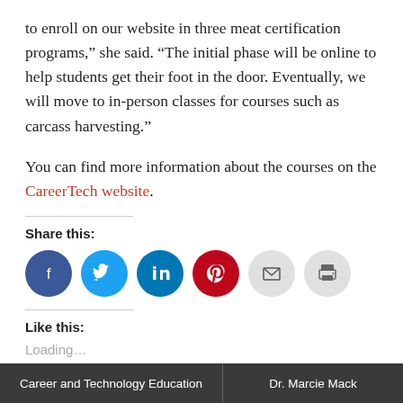to enroll on our website in three meat certification programs,” she said. “The initial phase will be online to help students get their foot in the door. Eventually, we will move to in-person classes for courses such as carcass harvesting.”
You can find more information about the courses on the CareerTech website.
Share this:
[Figure (other): Social share icons: Facebook, Twitter, LinkedIn, Pinterest, Email, Print]
Like this:
Loading...
Career and Technology Education | Dr. Marcie Mack